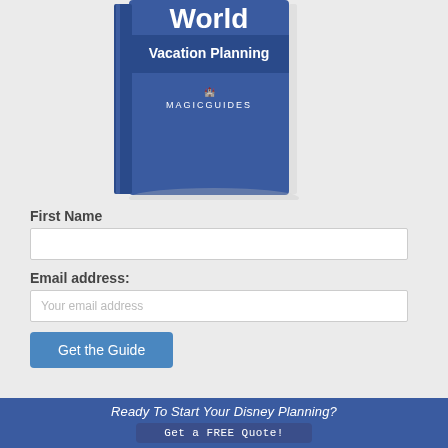[Figure (photo): Book cover image showing 'World Vacation Planning' with MagicGuides logo, partially cropped at top]
First Name
Email address:
Your email address
Get the Guide
Ready To Start Your Disney Planning?
Get a FREE Quote!